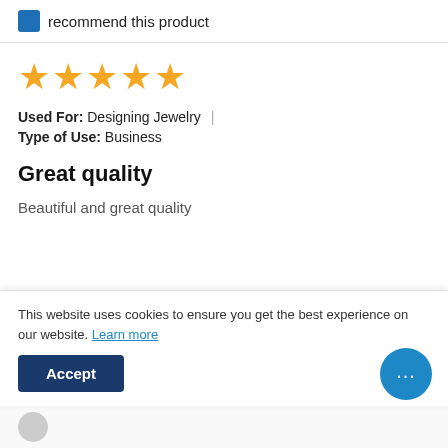recommend this product
[Figure (other): 5 yellow star rating icons]
Used For: Designing Jewelry  |  Type of Use: Business
Great quality
Beautiful and great quality
[Figure (photo): Photo of a beaded bracelet with pink and gold beads on a light surface]
This website uses cookies to ensure you get the best experience on our website. Learn more
Accept